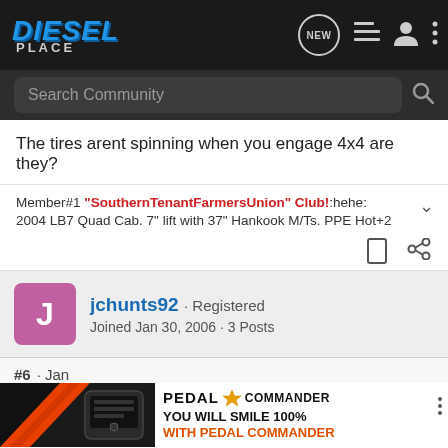Diesel Place | NEW | menu | user | more
Search Community
The tires arent spinning when you engage 4x4 are they?
Member#1 "SouthernTenantFarmersUnion" Club!:hehe:
2004 LB7 Quad Cab. 7" lift with 37" Hankook M/Ts. PPE Hot+2
jchunts92 · Registered
Joined Jan 30, 2006 · 3 Posts
#6 · Jan
[Figure (screenshot): Pedal Commander advertisement banner with orange/black styling and text YOU WILL SMILE 100% WITH PEDAL COMMANDER]